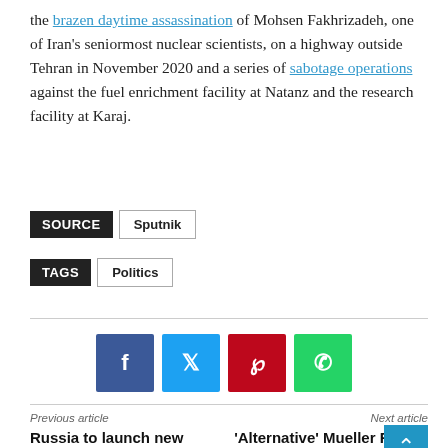the brazen daytime assassination of Mohsen Fakhrizadeh, one of Iran's seniormost nuclear scientists, on a highway outside Tehran in November 2020 and a series of sabotage operations against the fuel enrichment facility at Natanz and the research facility at Karaj.
SOURCE  Sputnik
TAGS  Politics
[Figure (infographic): Social media sharing buttons: Facebook (blue), Twitter (light blue), Pinterest (red), WhatsApp (green)]
Previous article
Russia to launch new Angara light carrier rocket in first half of 2022
Next article
'Alternative' Mueller Report Could Be Released Soon